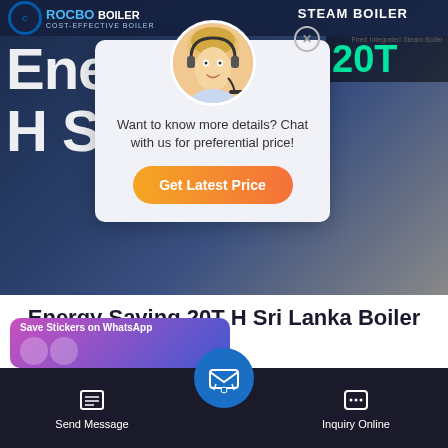[Figure (screenshot): Rocbo Boiler website hero section with dark blue background showing large white text 'Energy Saving 20T H Sri Lanka Boiler' behind a chat popup overlay]
[Figure (infographic): Chat popup with female agent avatar, stars decoration, text 'Want to know more details? Chat with us for preferential price!' and orange 'Get Latest Price' button]
Energy Saving 20T H Sri Lanka Boiler
[Figure (infographic): WhatsApp sticker save card with pink-purple gradient showing 'Save Stickers on WhatsApp' with avatar icons]
[Figure (infographic): Bottom navigation bar with Send Message, email center button, and Inquiry Online options]